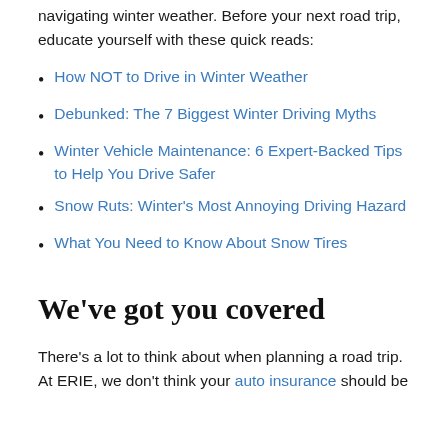has provided plenty of tips and tricks for safely navigating winter weather. Before your next road trip, educate yourself with these quick reads:
How NOT to Drive in Winter Weather
Debunked: The 7 Biggest Winter Driving Myths
Winter Vehicle Maintenance: 6 Expert-Backed Tips to Help You Drive Safer
Snow Ruts: Winter's Most Annoying Driving Hazard
What You Need to Know About Snow Tires
We've got you covered
There's a lot to think about when planning a road trip. At ERIE, we don't think your auto insurance should be